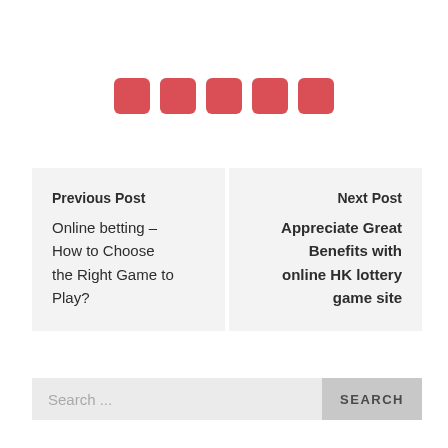[Figure (other): Five red rounded square dots/pagination indicators in a row]
Previous Post
Online betting – How to Choose the Right Game to Play?
Next Post
Appreciate Great Benefits with online HK lottery game site
Search ...